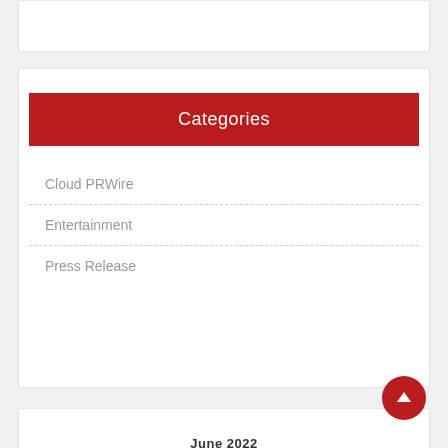Categories
Cloud PRWire
Entertainment
Press Release
June 2022